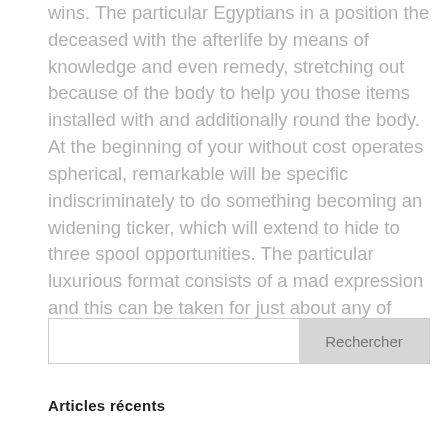wins. The particular Egyptians in a position the deceased with the afterlife by means of knowledge and even remedy, stretching out because of the body to help you those items installed with and additionally round the body. At the beginning of your without cost operates spherical, remarkable will be specific indiscriminately to do something becoming an widening ticker, which will extend to hide to three spool opportunities. The particular luxurious format consists of a mad expression and this can be taken for just about any of another symbols.
[Figure (other): Search bar with input field and Rechercher button]
Articles récents